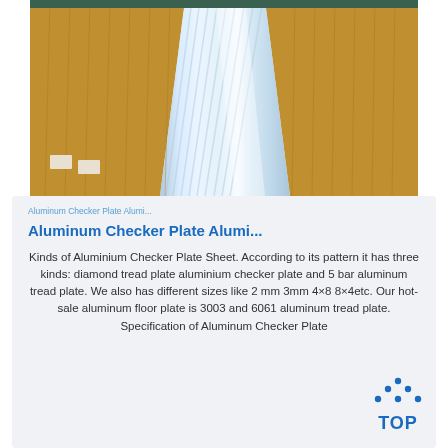[Figure (photo): Photo of aluminum checker plate sheets stacked in cardboard packaging, showing bright reflective silver aluminum sheets with parallel ridge lines, surrounded by golden/brown cardboard wrapping]
breadcrumb navigation link text (partially visible, truncated)
Aluminum Checker Plate Alumi...
Kinds of Aluminium Checker Plate Sheet. According to its pattern it has three kinds: diamond tread plate aluminium checker plate and 5 bar aluminum tread plate. We also has different sizes like 2 mm 3mm 4×8 8×4etc. Our hot-sale aluminum floor plate is 3003 and 6061 aluminum tread plate. Specification of Aluminum Checker Plate
[Figure (logo): TOP logo with blue dots arranged in a triangle/arc above the word TOP in blue bold text]